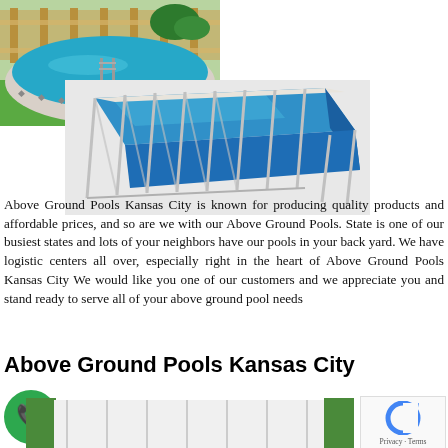[Figure (photo): Above ground round pool with white decorative panels and blue water liner, set on green lawn with wooden fence in background.]
[Figure (photo): Rectangular above ground pool with blue sides, metal frame supports, partially filled with water, viewed from an angle.]
Above Ground Pools Kansas City is known for producing quality products and affordable prices, and so are we with our Above Ground Pools. State is one of our busiest states and lots of your neighbors have our pools in your back yard. We have logistic centers all over, especially right in the heart of Above Ground Pools Kansas City We would like you one of our customers and we appreciate you and stand ready to serve all of your above ground pool needs
Above Ground Pools Kansas City
[Figure (photo): Phone call icon (white phone on green circle background).]
[Figure (photo): Outdoor storage shed or building with white panels, surrounded by greenery.]
[Figure (logo): Google reCAPTCHA badge with Privacy and Terms links.]